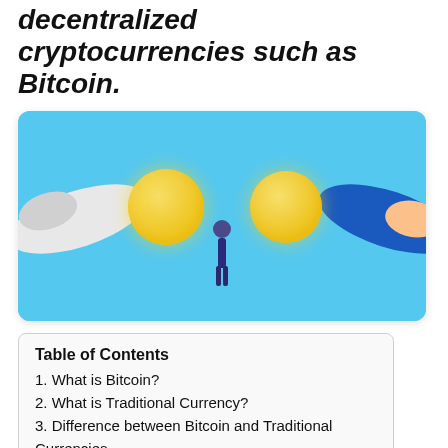decentralized cryptocurrencies such as Bitcoin.
[Figure (illustration): Illustration on a light blue background showing two hands exchanging golden coins with a small figure standing between them in the center.]
Table of Contents
1. What is Bitcoin?
2. What is Traditional Currency?
3. Difference between Bitcoin and Traditional Currencies